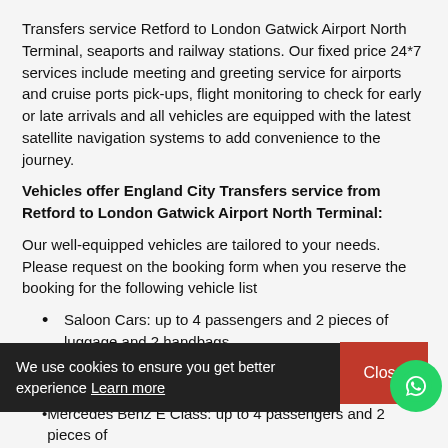Transfers service Retford to London Gatwick Airport North Terminal, seaports and railway stations. Our fixed price 24*7 services include meeting and greeting service for airports and cruise ports pick-ups, flight monitoring to check for early or late arrivals and all vehicles are equipped with the latest satellite navigation systems to add convenience to the journey.
Vehicles offer England City Transfers service from Retford to London Gatwick Airport North Terminal:
Our well-equipped vehicles are tailored to your needs. Please request on the booking form when you reserve the booking for the following vehicle list
Saloon Cars: up to 4 passengers and 2 pieces of luggage and 2 handbags.
Estate Cars: up to 4 passengers and 4 pieces of luggage and 4 handbags.
MPV5 Passengers: up to 5 passengers and 5 pieces of luggage and 5 handbags.
8 SEATER: up to 8 passengers and 8 pieces of luggage and 8 handbags.
Mercedes Benz E Class: up to 4 passengers and 2 pieces of